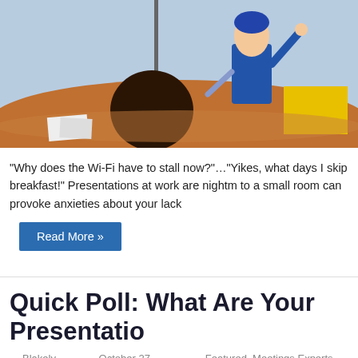[Figure (illustration): Cartoon illustration showing a blue-suited figure standing at a podium/desk with a person seated in front (back of dark-haired head visible), yellow object on desk, pole/microphone stand, light blue background]
“Why does the Wi-Fi have to stall now?”…“Yikes, what days I skip breakfast!” Presentations at work are nightm to a small room can provoke anxieties about your lack
Read More »
Quick Poll: What Are Your Presentatio
Blakely T.   October 27, 2014   Featured, Meetings Experts, Virtu
[Figure (photo): Partial photo of a person, appears to be a close-up/portrait, dark toned image cropped at bottom of page]